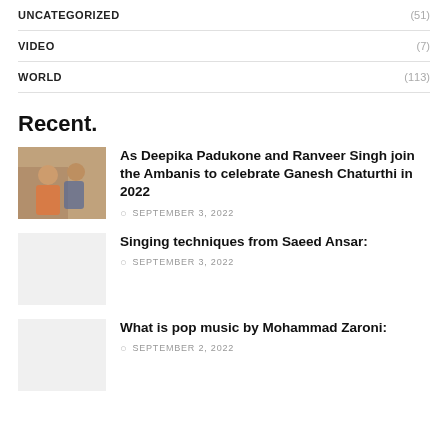UNCATEGORIZED (51)
VIDEO (7)
WORLD (113)
Recent.
[Figure (photo): Photo of Deepika Padukone and Ranveer Singh]
As Deepika Padukone and Ranveer Singh join the Ambanis to celebrate Ganesh Chaturthi in 2022
SEPTEMBER 3, 2022
[Figure (photo): Placeholder image]
Singing techniques from Saeed Ansar:
SEPTEMBER 3, 2022
[Figure (photo): Placeholder image]
What is pop music by Mohammad Zaroni:
SEPTEMBER 2, 2022